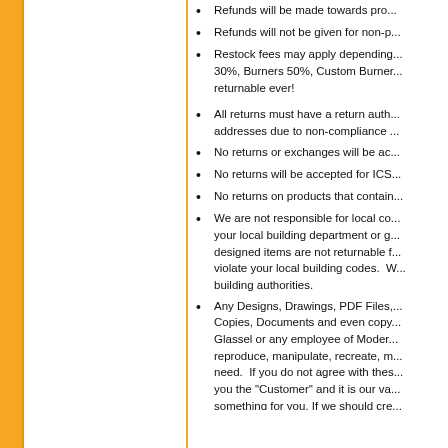Refunds will be made towards pro...
Refunds will not be given for non-p...
Restock fees may apply depending... 30%, Burners 50%, Custom Burner... returnable ever!
All returns must have a return auth... addresses due to non-compliance ...
No returns or exchanges will be ac...
No returns will be accepted for ICS...
No returns on products that contain...
We are not responsible for local co... your local building department or g... designed items are not returnable f... violate your local building codes. W... building authorities.
Any Designs, Drawings, PDF Files,... Copies, Documents and even copy... Glassel or any employee of Moder... reproduce, manipulate, recreate, m... need. If you do not agree with thes... you the "Customer" and it is our va... something for you. If we should cre... rights to this or there idea or ideas,
To read all comp...